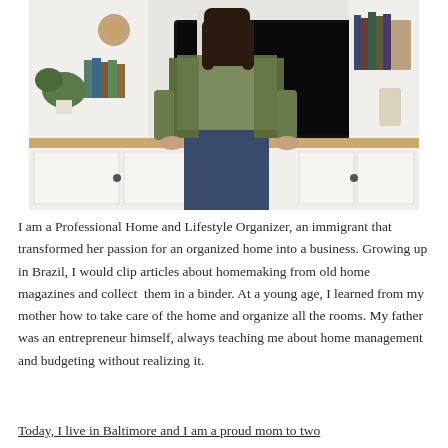[Figure (photo): A woman with long dark hair wearing a white shirt and olive green jacket, standing in front of a white built-in cabinet with a TV, books, and plants. She is leaning against a wooden countertop.]
I am a Professional Home and Lifestyle Organizer, an immigrant that transformed her passion for an organized home into a business. Growing up in Brazil, I would clip articles about homemaking from old home magazines and collect them in a binder. At a young age, I learned from my mother how to take care of the home and organize all the rooms. My father was an entrepreneur himself, always teaching me about home management and budgeting without realizing it.
Today, I live in Baltimore and I am a proud mom to two